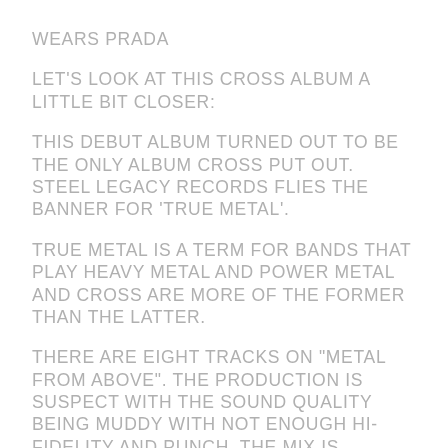Wears Prada
Let's look at this Cross album a little bit closer:
This debut album turned out to be the only album Cross put out. Steel Legacy Records flies the banner for 'True Metal'.
True Metal is a term for bands that play Heavy Metal and Power Metal and Cross are more of the former than the latter.
There are eight tracks on "Metal From Above". The production is suspect with the sound quality being muddy with not enough hi-fidelity and punch. The mix is